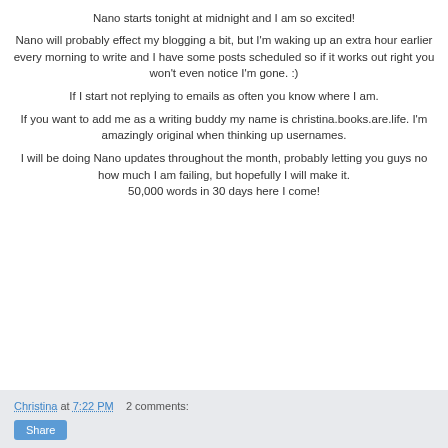Nano starts tonight at midnight and I am so excited!
Nano will probably effect my blogging a bit, but I'm waking up an extra hour earlier every morning to write and I have some posts scheduled so if it works out right you won't even notice I'm gone. :)
If I start not replying to emails as often you know where I am.
If you want to add me as a writing buddy my name is christina.books.are.life. I'm amazingly original when thinking up usernames.
I will be doing Nano updates throughout the month, probably letting you guys no how much I am failing, but hopefully I will make it.
50,000 words in 30 days here I come!
Christina at 7:22 PM   2 comments:
Share